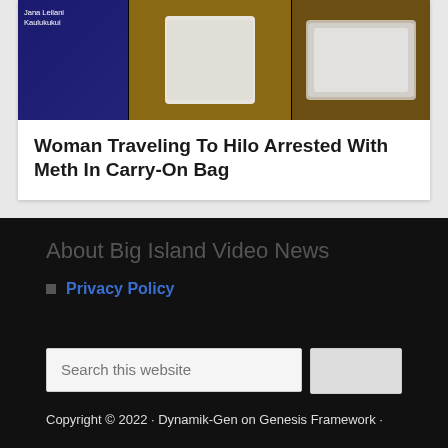[Figure (photo): Collage photo: left shows a police mugshot booking photo with text 'Kaulukukui', center and right show plastic bags of white powder (meth) on a brown surface against dark blue background]
Woman Traveling To Hilo Arrested With Meth In Carry-On Bag
About Big Island Video News
Privacy Policy
Copyright © 2022 · Dynamik-Gen on Genesis Framework ·